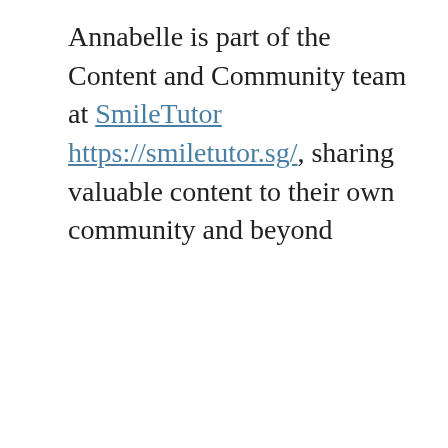Annabelle is part of the Content and Community team at SmileTutor https://smiletutor.sg/, sharing valuable content to their own community and beyond
Share this:
Twitter  Facebook
Loading...
Related